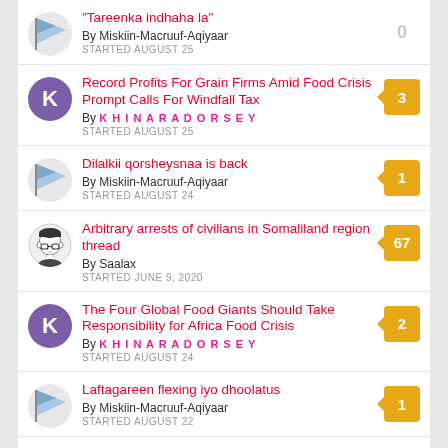"Tareenka indhaha la" By Miskiin-Macruuf-Aqiyaar STARTED AUGUST 25 — replies: 0
Record Profits For Grain Firms Amid Food Crisis Prompt Calls For Windfall Tax By KHINARADORSEY STARTED AUGUST 25 — replies: 3
Dilalkii qorsheysnaa is back By Miskiin-Macruuf-Aqiyaar STARTED AUGUST 24 — replies: 1
Arbitrary arrests of civilians in Somaliland region thread By Saalax STARTED JUNE 9, 2020 — replies: 67
The Four Global Food Giants Should Take Responsibility for Africa Food Crisis By KHINARADORSEY STARTED AUGUST 24 — replies: 2
Laftagareen flexing iyo dhoolatus By Miskiin-Macruuf-Aqiyaar STARTED AUGUST 22 — replies: 1
Where did argagaxisadii go? — replies: 1